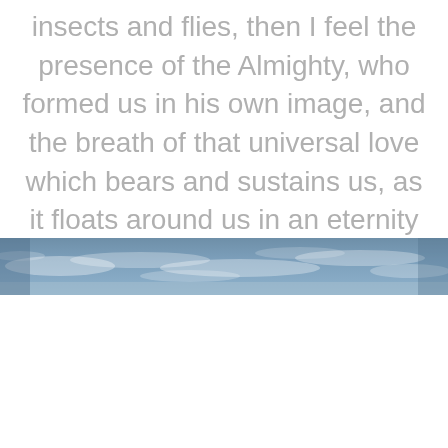insects and flies, then I feel the presence of the Almighty, who formed us in his own image, and the breath of that universal love which bears and sustains us, as it floats around us in an eternity of blist.
[Figure (photo): A panoramic strip of sky with blue tones and light clouds, positioned horizontally across the middle of the page.]